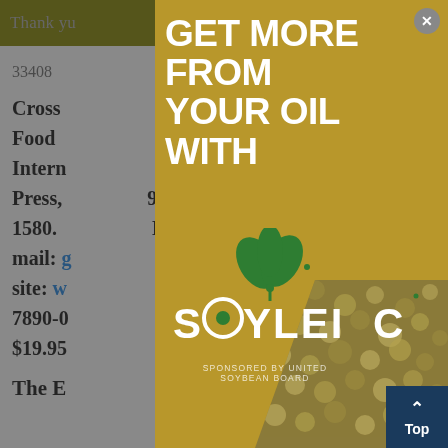Thank you ... tools you
33408
Cross ... s in Food ... International ... North Press, ... 904-1580. ... E-mail: g... eb site: w... 0-7890-0... or: $19.95
The E... ents.
[Figure (advertisement): Soyleic advertisement overlay on a webpage. Gold/mustard background with large white bold text reading 'GET MORE FROM YOUR OIL WITH'. Below is the Soyleic logo with a green plant icon and stylized wordmark 'SOYLEIC' in white, with 'SPONSORED BY UNITED SOYBEAN BOARD' text at the bottom. The right portion shows a close-up photo of soybeans. A close (X) button appears in the top right corner.]